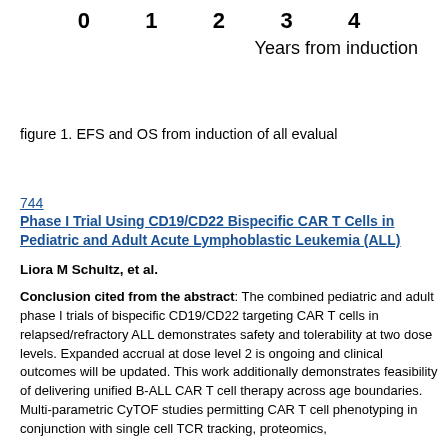[Figure (continuous-plot): Bottom portion of a survival curve chart showing x-axis tick labels 0, 1, 2, 3, 4 and x-axis label 'Years from induction']
figure 1. EFS and OS from induction of all evalual
744
Phase I Trial Using CD19/CD22 Bispecific CAR T Cells in Pediatric and Adult Acute Lymphoblastic Leukemia (ALL)
Liora M Schultz, et al.
Conclusion cited from the abstract: The combined pediatric and adult phase I trials of bispecific CD19/CD22 targeting CAR T cells in relapsed/refractory ALL demonstrates safety and tolerability at two dose levels. Expanded accrual at dose level 2 is ongoing and clinical outcomes will be updated. This work additionally demonstrates feasibility of delivering unified B-ALL CAR T cell therapy across age boundaries. Multi-parametric CyTOF studies permitting CAR T cell phenotyping in conjunction with single cell TCR tracking, proteomics, and gene expression profiling are ongoing and will be reported.